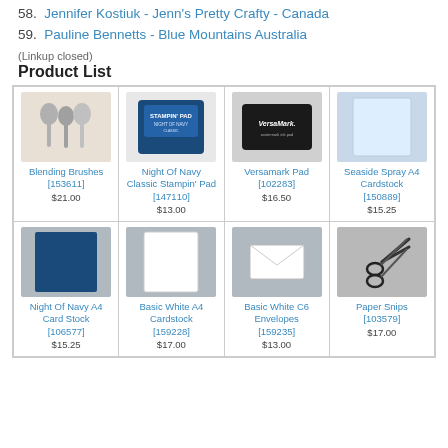58. Jennifer Kostiuk - Jenn's Pretty Crafty - Canada
59. Pauline Bennetts - Blue Mountains Australia
(Linkup closed)
Product List
| Product | Product | Product | Product |
| --- | --- | --- | --- |
| Blending Brushes [153611] $21.00 | Night Of Navy Classic Stampin' Pad [147110] $13.00 | Versamark Pad [102283] $16.50 | Seaside Spray A4 Cardstock [150889] $15.25 |
| Night Of Navy A4 Card Stock [106577] $15.25 | Basic White A4 Cardstock [159228] $17.00 | Basic White C6 Envelopes [159235] $13.00 | Paper Snips [103579] $17.00 |